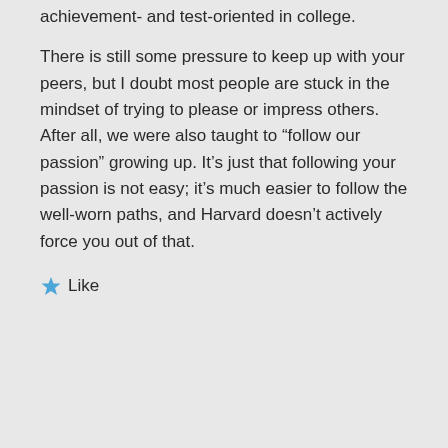achievement- and test-oriented in college.
There is still some pressure to keep up with your peers, but I doubt most people are stuck in the mindset of trying to please or impress others. After all, we were also taught to “follow our passion” growing up. It’s just that following your passion is not easy; it’s much easier to follow the well-worn paths, and Harvard doesn’t actively force you out of that.
Like